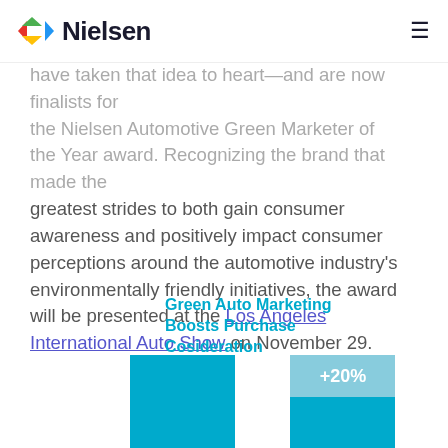Nielsen
have taken that idea to heart—and are now finalists for the Nielsen Automotive Green Marketer of the Year award. Recognizing the brand that made the greatest strides to both gain consumer awareness and positively impact consumer perceptions around the automotive industry's environmentally friendly initiatives, the award will be presented at the Los Angeles International Auto Show on November 29.
Green Auto Marketing Boosts Purchase Cosideration
[Figure (bar-chart): Green Auto Marketing Boosts Purchase Cosideration]